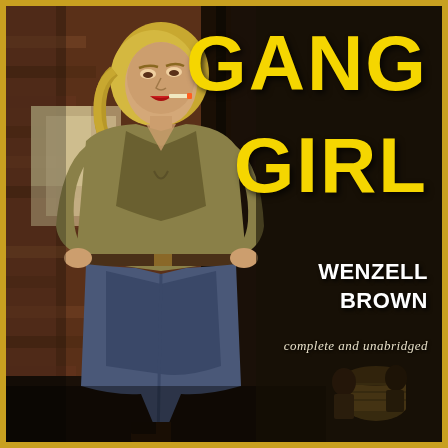[Figure (illustration): Vintage pulp fiction book cover illustration. A blonde woman in a loose open shirt and jeans stands with hands on hips, leaning against a brick wall, cigarette in mouth. Dark alley setting. Background figures visible at lower right near a barrel.]
GANG GIRL
WENZELL BROWN
complete and unabridged